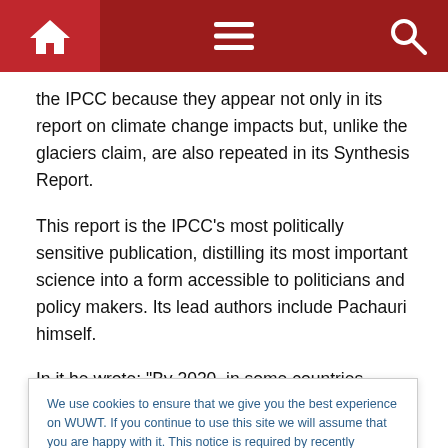Navigation bar with home, menu, and search icons
the IPCC because they appear not only in its report on climate change impacts but, unlike the glaciers claim, are also repeated in its Synthesis Report.
This report is the IPCC’s most politically sensitive publication, distilling its most important science into a form accessible to politicians and policy makers. Its lead authors include Pachauri himself.
In it he wrote: "By 2020, in some countries, yields from
We use cookies to ensure that we give you the best experience on WUWT. If you continue to use this site we will assume that you are happy with it. This notice is required by recently enacted EU GDPR rules, and since WUWT is a globally read website, we need to keep the bureaucrats off our case! Cookie Policy
Speaking at the 2009 global climate talks in Poznan,